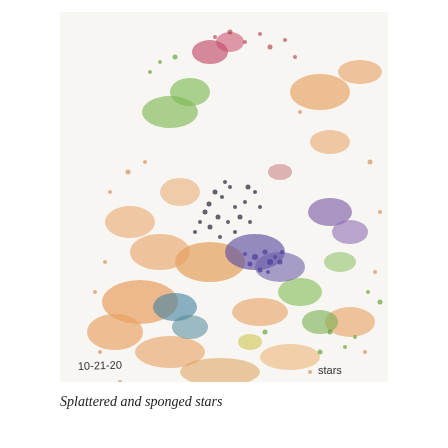[Figure (photo): A colorful children's artwork showing splattered and sponged paint in orange, green, purple, red, blue, and yellow colors on white paper, creating a star-like splatter pattern. The artwork is dated '10-21-20' in the bottom left and signed 'stars' in the bottom right.]
Splattered and sponged stars